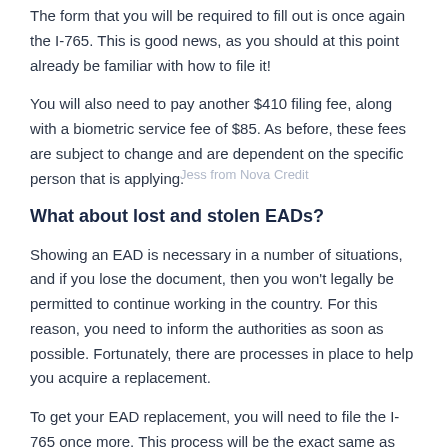The form that you will be required to fill out is once again the I-765. This is good news, as you should at this point already be familiar with how to file it!
You will also need to pay another $410 filing fee, along with a biometric service fee of $85. As before, these fees are subject to change and are dependent on the specific person that is applying.
What about lost and stolen EADs?
Showing an EAD is necessary in a number of situations, and if you lose the document, then you won't legally be permitted to continue working in the country. For this reason, you need to inform the authorities as soon as possible. Fortunately, there are processes in place to help you acquire a replacement.
To get your EAD replacement, you will need to file the I-765 once more. This process will be the exact same as the first...